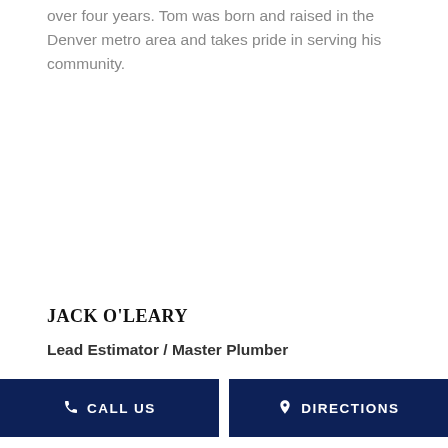over four years. Tom was born and raised in the Denver metro area and takes pride in serving his community.
JACK O'LEARY
Lead Estimator / Master Plumber
Jack O'Leary is the Lead Estimator/Master
Call Us
Directions